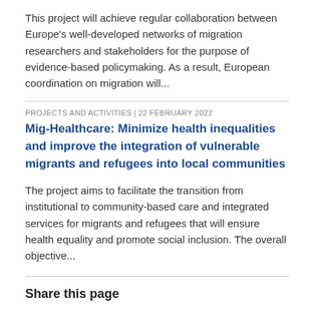This project will achieve regular collaboration between Europe's well-developed networks of migration researchers and stakeholders for the purpose of evidence-based policymaking. As a result, European coordination on migration will...
PROJECTS AND ACTIVITIES | 22 FEBRUARY 2022
Mig-Healthcare: Minimize health inequalities and improve the integration of vulnerable migrants and refugees into local communities
The project aims to facilitate the transition from institutional to community-based care and integrated services for migrants and refugees that will ensure health equality and promote social inclusion. The overall objective...
Share this page